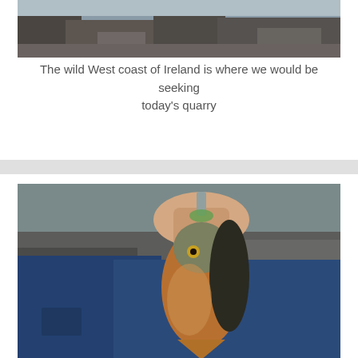[Figure (photo): Photograph of the wild West coast of Ireland showing rocky coastal cliffs and shoreline.]
The wild West coast of Ireland is where we would be seeking today's quarry
[Figure (photo): A person in a blue jacket holding up a fish (appears to be a wrasse or similar species) by a lure, with rocky Irish coastline in the background.]